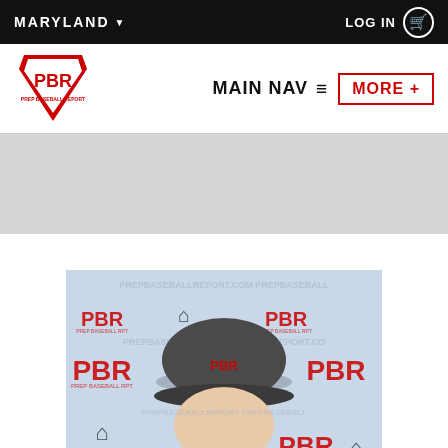MARYLAND ▾    LOG IN 🛒
[Figure (logo): PBR Prep Baseball Report logo]
MAIN NAV ≡  MORE +
[Figure (photo): Baseball player wearing a PBR cap in front of a Prep Baseball Report branded backdrop with Under Armour logos]